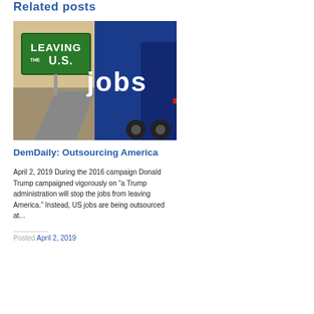Related posts
[Figure (photo): Composite image showing a green highway sign reading 'LEAVING THE U.S.' on the left, and a blue truck with 'JOBS' written on it on the right, on a road background.]
DemDaily: Outsourcing America
April 2, 2019 During the 2016 campaign Donald Trump campaigned vigorously on “a Trump administration will stop the jobs from leaving America.” Instead, US jobs are being outsourced at...
Posted April 2, 2019